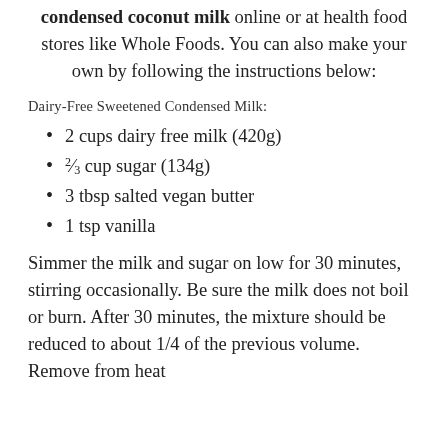condensed coconut milk online or at health food stores like Whole Foods. You can also make your own by following the instructions below:
Dairy-Free Sweetened Condensed Milk:
2 cups dairy free milk (420g)
⅔ cup sugar (134g)
3 tbsp salted vegan butter
1 tsp vanilla
Simmer the milk and sugar on low for 30 minutes, stirring occasionally. Be sure the milk does not boil or burn. After 30 minutes, the mixture should be reduced to about 1/4 of the previous volume. Remove from heat